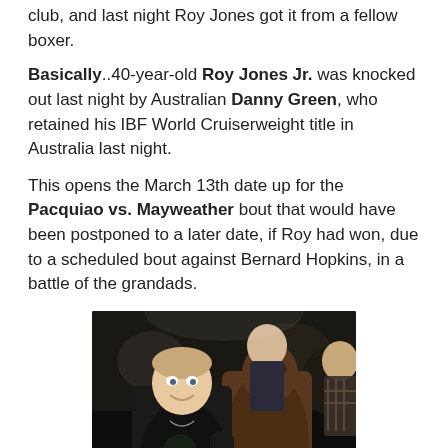club, and last night Roy Jones got it from a fellow boxer.
Basically..40-year-old Roy Jones Jr. was knocked out last night by Australian Danny Green, who retained his IBF World Cruiserweight title in Australia last night.
This opens the March 13th date up for the Pacquiao vs. Mayweather bout that would have been postponed to a later date, if Roy had won, due to a scheduled bout against Bernard Hopkins, in a battle of the grandads.
[Figure (photo): Two boxers posing together after a fight. A white man in a black t-shirt on the left smiling, and a shirtless Black man on the right holding championship belts. Other people visible in the background.]